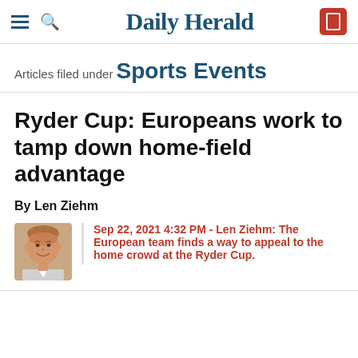Daily Herald
Articles filed under Sports Events
Ryder Cup: Europeans work to tamp down home-field advantage
By Len Ziehm
Sep 22, 2021 4:32 PM - Len Ziehm: The European team finds a way to appeal to the home crowd at the Ryder Cup.